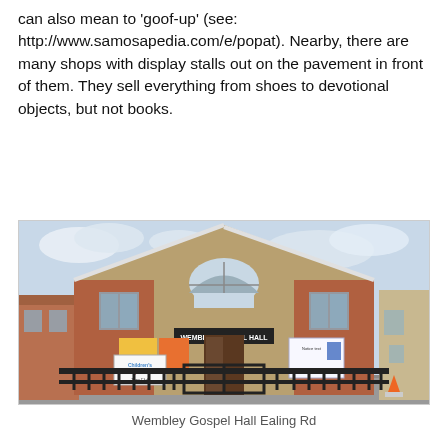can also mean to 'goof-up' (see: http://www.samosapedia.com/e/popat). Nearby, there are many shops with display stalls out on the pavement in front of them. They sell everything from shoes to devotional objects, but not books.
[Figure (photo): Exterior photograph of Wembley Gospel Hall on Ealing Road. A brick building with a triangular gable roof, arched window above the entrance, signs on the front including 'Children's Special' and 'Teen Club', metal railings in front.]
Wembley Gospel Hall Ealing Rd